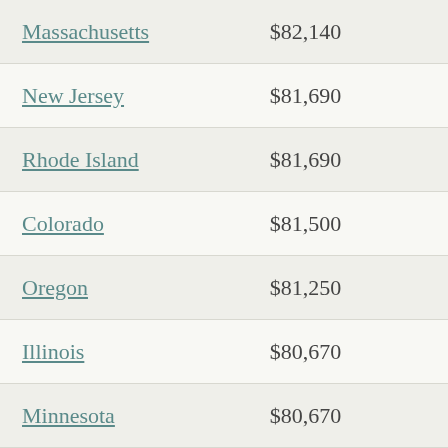| State | Salary |
| --- | --- |
| Massachusetts | $82,140 |
| New Jersey | $81,690 |
| Rhode Island | $81,690 |
| Colorado | $81,500 |
| Oregon | $81,250 |
| Illinois | $80,670 |
| Minnesota | $80,670 |
| Alaska | $80,430 |
| New York | $79,660 |
| Washington | $79,050 |